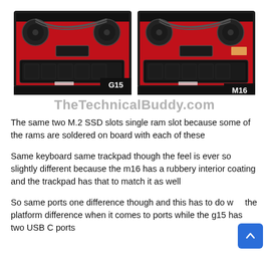[Figure (photo): Two side-by-side photos of laptop internals (bottom view with back cover removed), showing red circuit boards, battery, cooling fans and heat pipes. Left laptop labeled 'G15', right laptop labeled 'M16'.]
TheTechnicalBuddy.com
The same two M.2 SSD slots single ram slot because some of the rams are soldered on board with each of these
Same keyboard same trackpad though the feel is ever so slightly different because the m16 has a rubbery interior coating and the trackpad has that to match it as well
So same ports one difference though and this has to do with the platform difference when it comes to ports while the g15 has two USB C ports